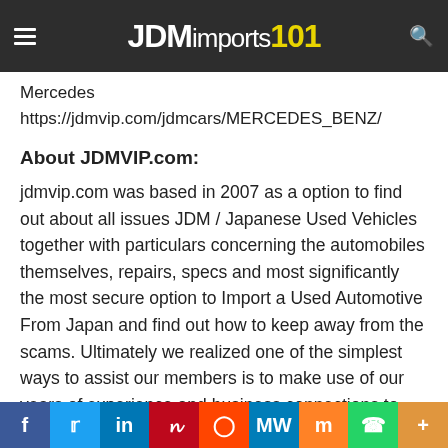JDMimports101
Mercedes https://jdmvip.com/jdmcars/MERCEDES_BENZ/
About JDMVIP.com:
jdmvip.com was based in 2007 as a option to find out about all issues JDM / Japanese Used Vehicles together with particulars concerning the automobiles themselves, repairs, specs and most significantly the most secure option to Import a Used Automotive From Japan and find out how to keep away from the scams. Ultimately we realized one of the simplest ways to assist our members is to make use of our years of experience and business connections to supply the very best Japan Public sale Automotive Buying Service on the market which suggests we offer an trustworthy, skilled service and ship the highest quality autos. Please be a part of our group, ask any questions concerning the automobiles, and find out how to Import your automobile from Japan...
f  Twitter  in  Pinterest  Reddit  MW  Mix  WhatsApp  More